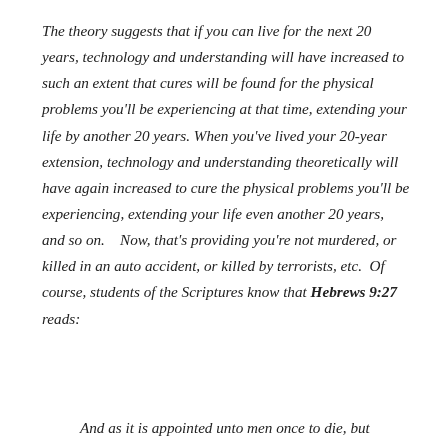The theory suggests that if you can live for the next 20 years, technology and understanding will have increased to such an extent that cures will be found for the physical problems you'll be experiencing at that time, extending your life by another 20 years. When you've lived your 20-year extension, technology and understanding theoretically will have again increased to cure the physical problems you'll be experiencing, extending your life even another 20 years, and so on.   Now, that's providing you're not murdered, or killed in an auto accident, or killed by terrorists, etc.  Of course, students of the Scriptures know that Hebrews 9:27 reads:
And as it is appointed unto men once to die, but